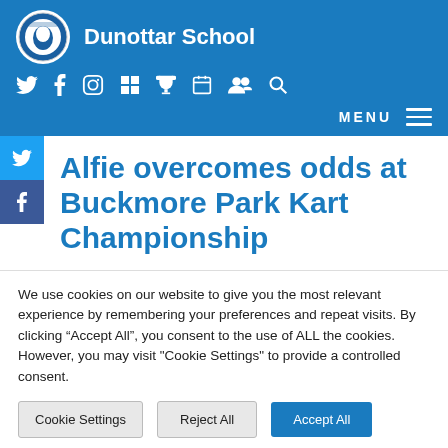Dunottar School
Alfie overcomes odds at Buckmore Park Kart Championship
We use cookies on our website to give you the most relevant experience by remembering your preferences and repeat visits. By clicking “Accept All”, you consent to the use of ALL the cookies. However, you may visit "Cookie Settings" to provide a controlled consent.